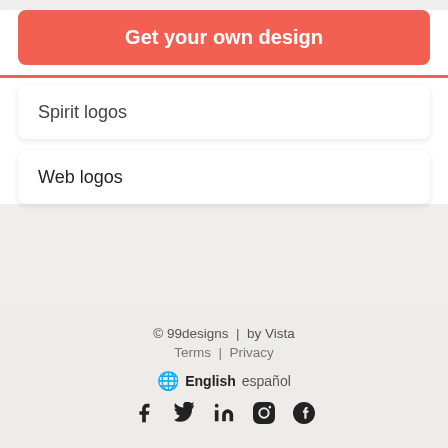Get your own design
Spirit logos
Web logos
© 99designs  |  by Vista
Terms  |  Privacy
English  español
Facebook Twitter LinkedIn Pinterest Instagram